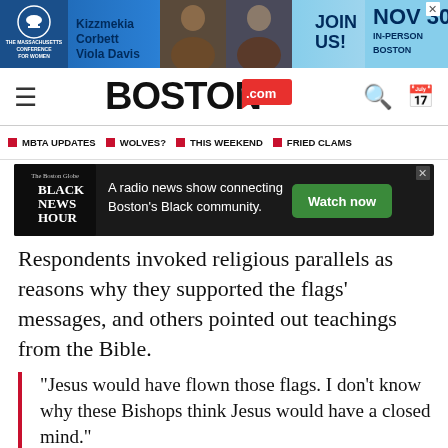[Figure (infographic): Advertisement banner for The Massachusetts Conference for Women featuring Kizzmekia Corbett and Viola Davis. Blue gradient background with text 'JOIN US! NOV 30 IN-PERSON BOSTON']
BOSTON.com
MBTA UPDATES
WOLVES?
THIS WEEKEND
FRIED CLAMS
[Figure (infographic): Advertisement for Black News Hour: 'A radio news show connecting Boston's Black community.' with Watch now button]
Respondents invoked religious parallels as reasons why they supported the flags' messages, and others pointed out teachings from the Bible.
“Jesus would have flown those flags. I don’t know why these Bishops think Jesus would have a closed mind.”